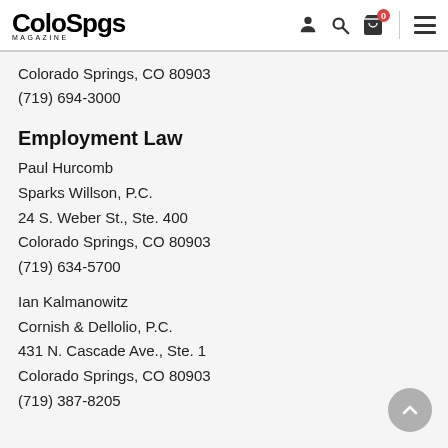Colo Spgs Magazine — navigation header
Colorado Springs, CO 80903
(719) 694-3000
Employment Law
Paul Hurcomb
Sparks Willson, P.C.
24 S. Weber St., Ste. 400
Colorado Springs, CO 80903
(719) 634-5700
Ian Kalmanowitz
Cornish & Dellolio, P.C.
431 N. Cascade Ave., Ste. 1
Colorado Springs, CO 80903
(719) 387-8205